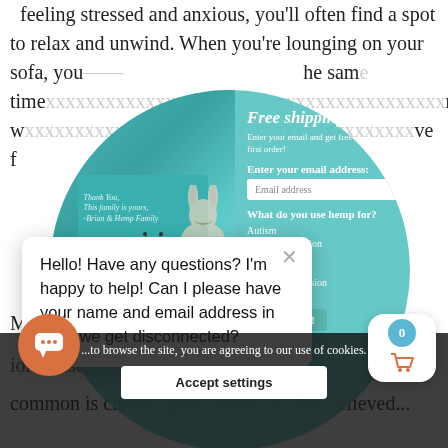feeling stressed and anxious, you'll often find a spot to relax and unwind. When you're lounging on your sofa, you...the same time...nine, w...ve f...
[Figure (screenshot): Teal circular popup overlay showing a gift box photo with butterfly and hemp products on the left, and a 'Free shipping!' email signup form on the right with fields for email address and hemp use options (autism, pain/inflammation, epilepsy, sleep, anxiety/depression, etc.) and a Subscribe Me! button. A close X button appears in the top right of the circle.]
Hello! Have any questions? I'm happy to help! Can I please have your name and email address in case we get disconnected?
...to browse the site, you are agreeing to our use of cookies.
Most of the p...are als...ion causes... One of th...common is chronic pain, which is often relieved...
Accept settings